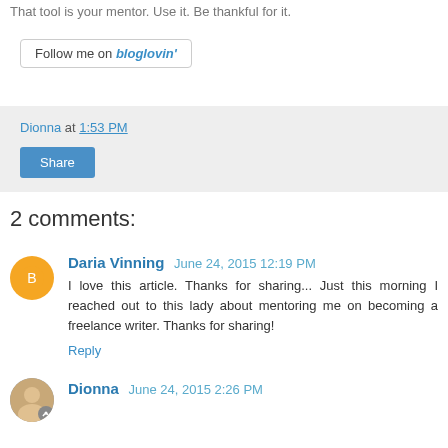That tool is your mentor. Use it. Be thankful for it.
[Figure (other): Follow me on bloglovin' button/badge]
Dionna at 1:53 PM
Share
2 comments:
Daria Vinning  June 24, 2015 12:19 PM
I love this article. Thanks for sharing... Just this morning I reached out to this lady about mentoring me on becoming a freelance writer. Thanks for sharing!
Reply
Dionna  June 24, 2015 2:26 PM